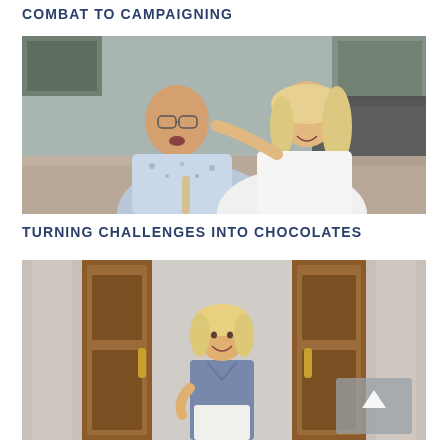COMBAT TO CAMPAIGNING
[Figure (photo): A man with glasses and a woman with long blonde hair laughing together in a kitchen, the man holding a utensil]
TURNING CHALLENGES INTO CHOCOLATES
[Figure (photo): A smiling blonde woman in a blue top standing in front of ornate wooden doors with stone columns]